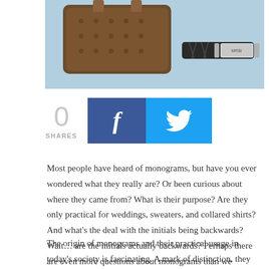[Figure (photo): Photo of Louis Vuitton monogram accessories: a wallet/clutch and a braided leather bracelet with silver ID plate engraved 'MRBI', on a blue background.]
0
SHARES
[Figure (infographic): Facebook share button (dark blue with f icon) and Twitter share button (cyan with bird icon)]
Most people have heard of monograms, but have you ever wondered what they really are? Or been curious about where they came from? What is their purpose? Are they only practical for weddings, sweaters, and collared shirts? And what's the deal with the initials being backwards? Wait… are the initials actually backwards? Perhaps there are even more questions about monograms than we anticipated.
The origin of monograms and their practical usage in today's society is fascinating. A mark of distinction, they have been around for a very long time. Probably as early as 350 B.C. But before we get ahead of ourselves, let's